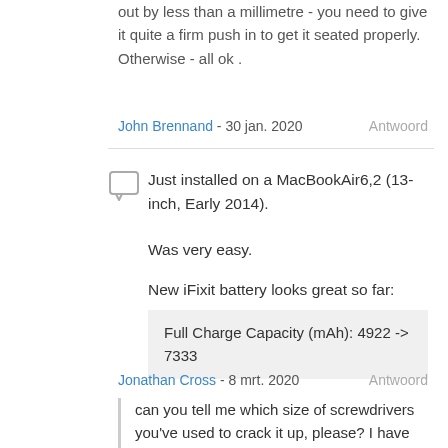out by less than a millimetre - you need to give it quite a firm push in to get it seated properly. Otherwise - all ok .
John Brennand - 30 jan. 2020    Antwoord
Just installed on a MacBookAir6,2 (13-inch, Early 2014).
Was very easy.
New iFixit battery looks great so far:
Full Charge Capacity (mAh): 4922 -> 7333
Jonathan Cross - 8 mrt. 2020    Antwoord
can you tell me which size of screwdrivers you've used to crack it up, please? I have the same model and size,
hawk_lpc - 12 jun. 2020